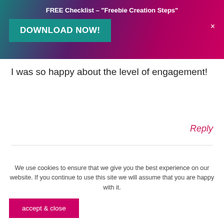FREE Checklist – "Freebie Creation Steps"
DOWNLOAD NOW!
×
I was so happy about the level of engagement!
Reply
EVA
We use cookies to ensure that we give you the best experience on our website. If you continue to use this site we will assume that you are happy with it.
accept & close